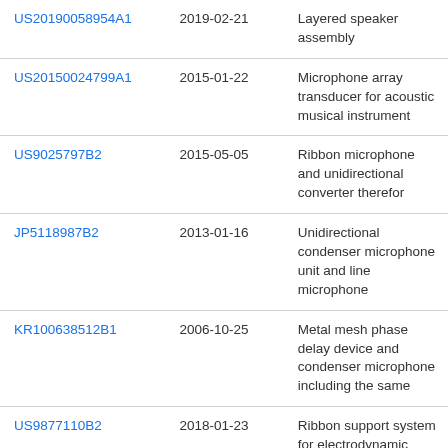| US20190058954A1 | 2019-02-21 | Layered speaker assembly |
| US20150024799A1 | 2015-01-22 | Microphone array transducer for acoustic musical instrument |
| US9025797B2 | 2015-05-05 | Ribbon microphone and unidirectional converter therefor |
| JP5118987B2 | 2013-01-16 | Unidirectional condenser microphone unit and line microphone |
| KR100638512B1 | 2006-10-25 | Metal mesh phase delay device and condenser microphone including the same |
| US9877110B2 | 2018-01-23 | Ribbon support system for electrodynamic microphone |
| US6563033B1 | 2003-05-13 | Stringed musical instrument with apparatus enhancing |